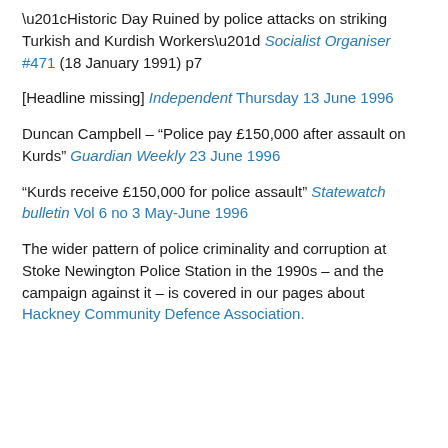“Historic Day Ruined by police attacks on striking Turkish and Kurdish Workers” Socialist Organiser #471 (18 January 1991) p7
[Headline missing] Independent Thursday 13 June 1996
Duncan Campbell – “Police pay £150,000 after assault on Kurds” Guardian Weekly 23 June 1996
“Kurds receive £150,000 for police assault” Statewatch bulletin Vol 6 no 3 May-June 1996
The wider pattern of police criminality and corruption at Stoke Newington Police Station in the 1990s – and the campaign against it – is covered in our pages about Hackney Community Defence Association.